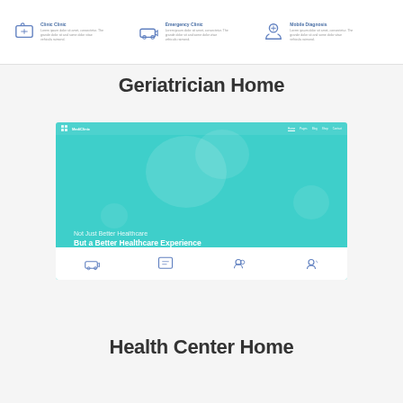[Figure (screenshot): Top card strip showing three service icons (clinic, emergency, mobile diagnosis) with small blue outline icons and placeholder text descriptions]
Geriatrician Home
[Figure (screenshot): Healthcare website screenshot with teal/mint background, navbar with MediClinic logo, decorative bubble shapes, headline text 'Not Just Better Healthcare / But a Better Healthcare Experience', and bottom icon bar with 4 service icons]
Health Center Home